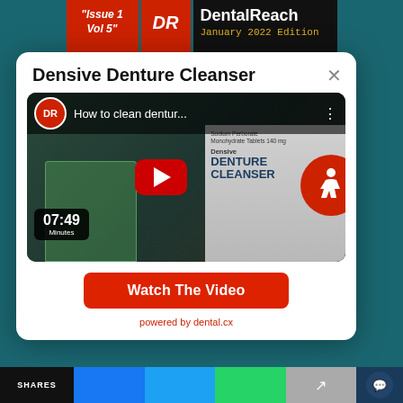[Figure (screenshot): Background showing DentalReach magazine covers - Issue 1 Vol 5 in red, DR logo in red, DentalReach January 2022 Edition in black]
Densive Denture Cleanser
[Figure (screenshot): YouTube video thumbnail showing 'How to clean dentur...' with DR logo, 07:49 Minutes timer, green liquid in beaker with dentures, Densive Denture Cleanser product box (Sodium Perborate Monohydrate Tablets 140mg), red YouTube play button, accessibility icon]
Watch The Video
powered by dental.cx
SHARES